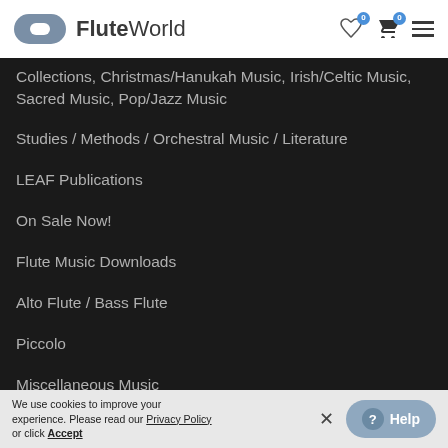FluteWorld
Collections, Christmas/Hanukah Music, Irish/Celtic Music, Sacred Music, Pop/Jazz Music
Studies / Methods / Orchestral Music / Literature
LEAF Publications
On Sale Now!
Flute Music Downloads
Alto Flute / Bass Flute
Piccolo
Miscellaneous Music
Recordings
Piccolo
We use cookies to improve your experience. Please read our Privacy Policy or click Accept